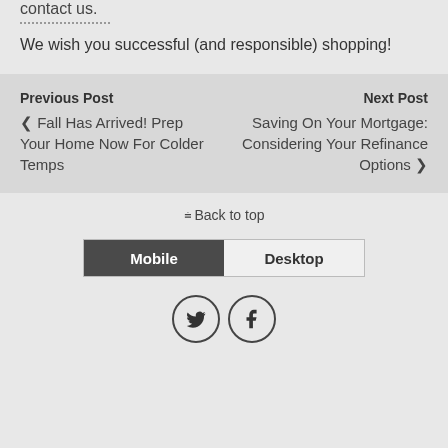contact us.
We wish you successful (and responsible) shopping!
Previous Post
‹ Fall Has Arrived! Prep Your Home Now For Colder Temps
Next Post
Saving On Your Mortgage: Considering Your Refinance Options ›
⌃ Back to top
[Figure (infographic): Mobile/Desktop toggle bar with Mobile selected (dark) and Desktop unselected (light)]
[Figure (infographic): Social media icons: Twitter (bird) and Facebook (f) in circles]